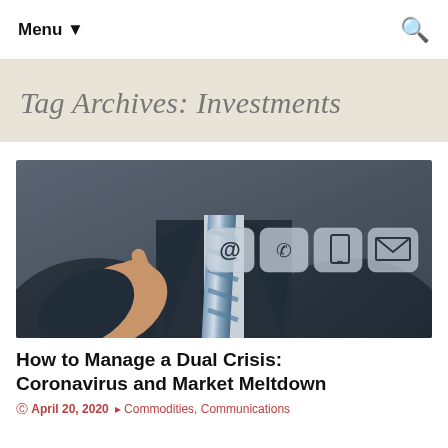Menu ▼
Tag Archives: Investments
[Figure (photo): Businessman in suit and striped tie pointing at contact icons (@ email, phone, tablet, envelope) on a transparent touchscreen interface]
How to Manage a Dual Crisis: Coronavirus and Market Meltdown
April 20, 2020  Commodities, Communications